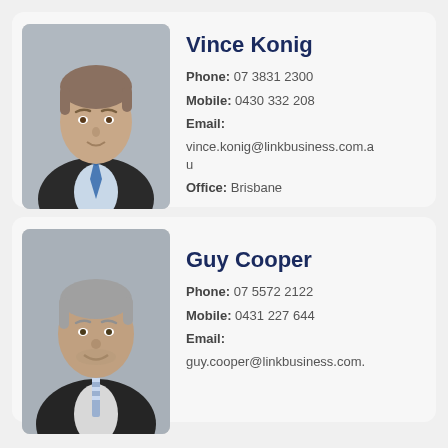[Figure (photo): Professional headshot of Vince Konig, a middle-aged man in a dark suit with a blue tie]
Vince Konig
Phone: 07 3831 2300
Mobile: 0430 332 208
Email: vince.konig@linkbusiness.com.au
Office: Brisbane
[Figure (photo): Professional headshot of Guy Cooper, a middle-aged man with grey hair in a dark suit with a striped tie]
Guy Cooper
Phone: 07 5572 2122
Mobile: 0431 227 644
Email: guy.cooper@linkbusiness.com.